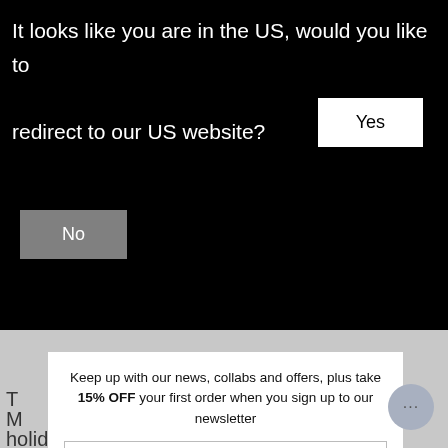It looks like you are in the US, would you like to redirect to our US website?
Yes
No
Keep up with our news, collabs and offers, plus take 15% OFF your first order when you sign up to our newsletter
Email address
SUBSCRIBE
holiday season. Featuring three of our best-selling piece our Miss Piggy x Ciate London collection, inject some piggy